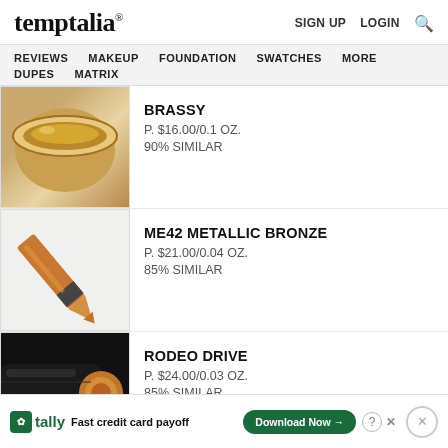temptalia® | SIGN UP   LOGIN  🔍
REVIEWS   MAKEUP   FOUNDATION   SWATCHES   MORE
DUPES   MATRIX
[Figure (photo): Jar of brassy gold cream eyeshadow]
BRASSY
P. $16.00/0.1 OZ.
90% SIMILAR
[Figure (photo): ME42 Metallic Bronze eye pencil/crayon]
ME42 METALLIC BRONZE
P. $21.00/0.04 OZ.
85% SIMILAR
[Figure (photo): Rodeo Drive bronze eye crayon on black background]
RODEO DRIVE
P. $24.00/0.03 OZ.
85% SIMILAR
[Figure (photo): Gold Metallic product partial view]
GOLD METALLIC
🍀 tally   Fast credit card payoff   Download Now →   ⓘ ✕   ✕